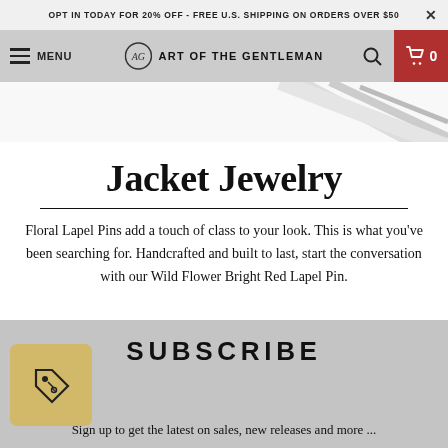OPT IN TODAY FOR 20% OFF - FREE U.S. SHIPPING ON ORDERS OVER $50  ×
MENU  AG ART OF THE GENTLEMAN  🔍  🛒 0
[Figure (photo): Partial image of what appears to be a lapel pin or jewelry item on light background]
Jacket Jewelry
Floral Lapel Pins add a touch of class to your look. This is what you've been searching for. Handcrafted and built to last, start the conversation with our Wild Flower Bright Red Lapel Pin.
SUBSCRIBE
Sign up to get the latest on sales, new releases and more ...